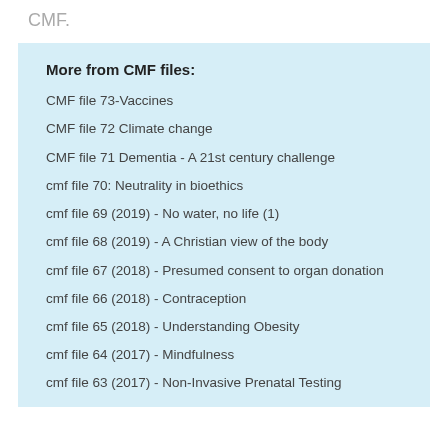CMF.
More from CMF files:
CMF file 73-Vaccines
CMF file 72 Climate change
CMF file 71 Dementia - A 21st century challenge
cmf file 70: Neutrality in bioethics
cmf file 69 (2019) - No water, no life (1)
cmf file 68 (2019) - A Christian view of the body
cmf file 67 (2018) - Presumed consent to organ donation
cmf file 66 (2018) - Contraception
cmf file 65 (2018) - Understanding Obesity
cmf file 64 (2017) - Mindfulness
cmf file 63 (2017) - Non-Invasive Prenatal Testing